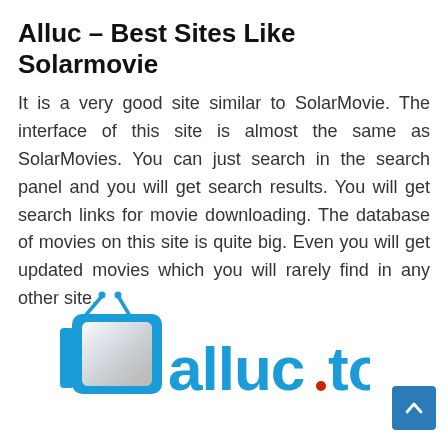Alluc – Best Sites Like Solarmovie
It is a very good site similar to SolarMovie. The interface of this site is almost the same as SolarMovies. You can just search in the search panel and you will get search results. You will get search links for movie downloading. The database of movies on this site is quite big. Even you will get updated movies which you will rarely find in any other site.
[Figure (logo): Alluc.to logo — a stylized blue TV with antenna on the left and the text 'alluc.to' in blue with a red dot before 'to']